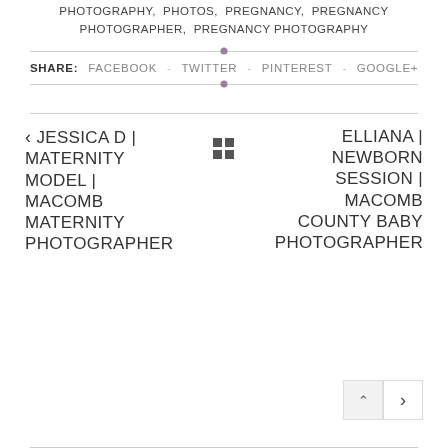PHOTOGRAPHY, PHOTOS, PREGNANCY, PREGNANCY PHOTOGRAPHER, PREGNANCY PHOTOGRAPHY
SHARE: FACEBOOK - TWITTER - PINTEREST - GOOGLE+
< JESSICA D | MATERNITY MODEL | MACOMB MATERNITY PHOTOGRAPHER
ELLIANA | NEWBORN SESSION | MACOMB COUNTY BABY PHOTOGRAPHER